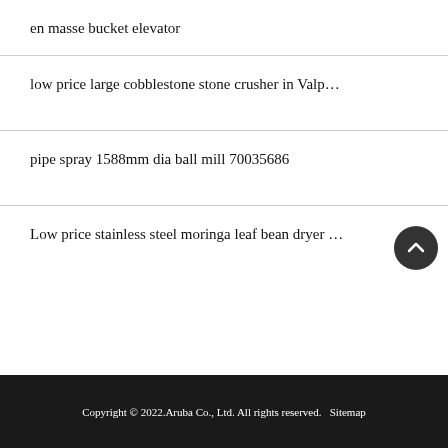en masse bucket elevator
low price large cobblestone stone crusher in Valp…
pipe spray 1588mm dia ball mill 70035686
Low price stainless steel moringa leaf bean dryer …
Copyright © 2022.Aruba Co., Ltd. All rights reserved.   Sitemap